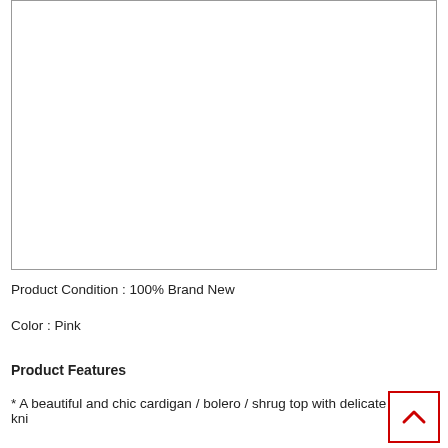[Figure (photo): Empty white product image box with border]
Product Condition : 100% Brand New
Color : Pink
Product Features
* A beautiful and chic cardigan / bolero / shrug top with delicate kni